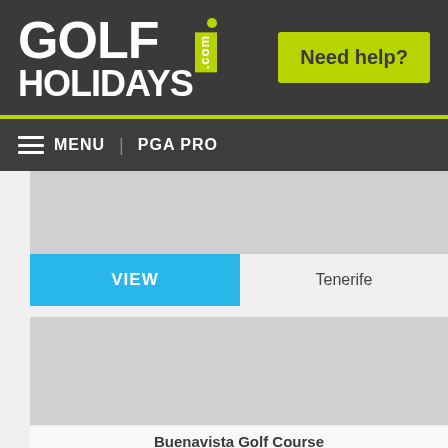GOLF HOLIDAYS .com  |  Need help?
MENU  |  PGA PRO
[Figure (photo): Gray placeholder image (top)]
VIEW
Tenerife
[Figure (photo): Gray placeholder image (bottom - golf course)]
Buenavista Golf Course